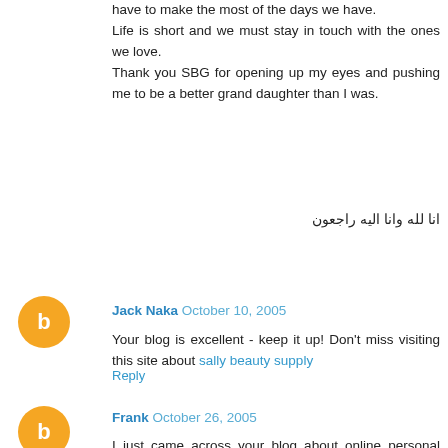have to make the most of the days we have. Life is short and we must stay in touch with the ones we love. Thank you SBG for opening up my eyes and pushing me to be a better grand daughter than I was.
انا لله وانا اليه راجعون
Reply
Jack Naka October 10, 2005
Your blog is excellent - keep it up! Don't miss visiting this site about sally beauty supply
Reply
Frank October 26, 2005
I just came across your blog about online personal dating services and wanted to drop you a note telling you how much I enjoy reading the stuff you are posting here. I also have a web site about online personal dating services so I